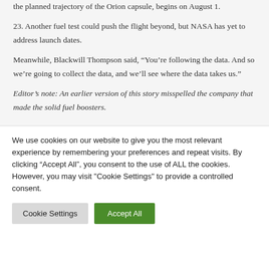the planned trajectory of the Orion capsule, begins on August 1.
23. Another fuel test could push the flight beyond, but NASA has yet to address launch dates.
Meanwhile, Blackwill Thompson said, “You’re following the data. And so we’re going to collect the data, and we’ll see where the data takes us.”
Editor’s note: An earlier version of this story misspelled the company that made the solid fuel boosters.
We use cookies on our website to give you the most relevant experience by remembering your preferences and repeat visits. By clicking “Accept All”, you consent to the use of ALL the cookies. However, you may visit "Cookie Settings" to provide a controlled consent.